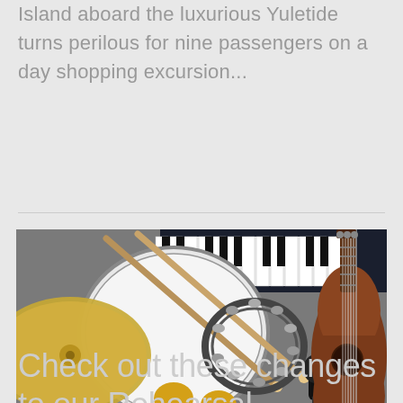Island aboard the luxurious Yuletide turns perilous for nine passengers on a day shopping excursion...
[Figure (photo): Photo of various musical instruments laid on a surface: a cymbal, snare drum, drumsticks, tambourine, maracas, microphone, acoustic guitar, and keyboard/synthesizer.]
Check out these changes to our Rehearsal Schedule!